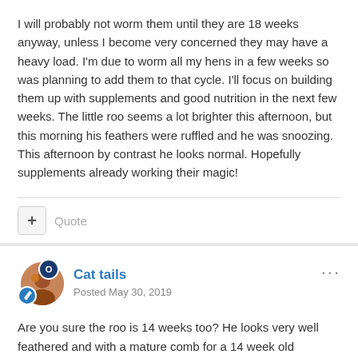I will probably not worm them until they are 18 weeks anyway, unless I become very concerned they may have a heavy load. I'm due to worm all my hens in a few weeks so was planning to add them to that cycle. I'll focus on building them up with supplements and good nutrition in the next few weeks. The little roo seems a lot brighter this afternoon, but this morning his feathers were ruffled and he was snoozing. This afternoon by contrast he looks normal. Hopefully supplements already working their magic!
Quote
Cat tails
Posted May 30, 2019
Are you sure the roo is 14 weeks too? He looks very well feathered and with a mature comb for a 14 week old cheeper.